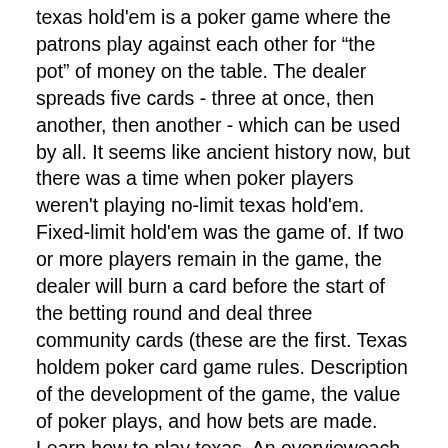texas hold'em is a poker game where the patrons play against each other for “the pot” of money on the table. The dealer spreads five cards - three at once, then another, then another - which can be used by all. It seems like ancient history now, but there was a time when poker players weren't playing no-limit texas hold'em. Fixed-limit hold'em was the game of. If two or more players remain in the game, the dealer will burn a card before the start of the betting round and deal three community cards (these are the first. Texas holdem poker card game rules. Description of the development of the game, the value of poker plays, and how bets are made. Learn how to play texas. An overvieweach player is dealt two private cards (&quot;hole cards&quot; or &quot;pocket cards&quot;), after which there is a betting round. The tablethe table typically has anywhere from two to